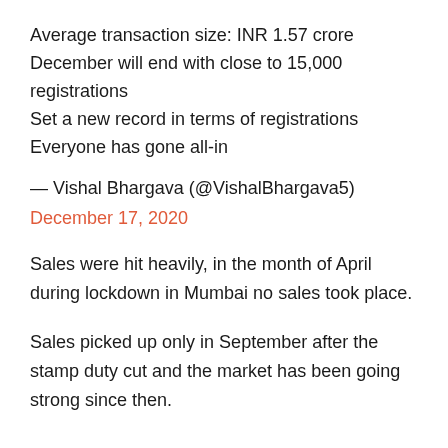Average transaction size: INR 1.57 crore
December will end with close to 15,000 registrations
Set a new record in terms of registrations
Everyone has gone all-in
— Vishal Bhargava (@VishalBhargava5)
December 17, 2020
Sales were hit heavily, in the month of April during lockdown in Mumbai no sales took place.
Sales picked up only in September after the stamp duty cut and the market has been going strong since then.